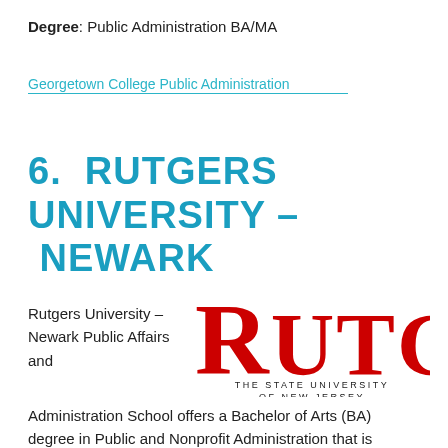Degree: Public Administration BA/MA
Georgetown College Public Administration
6. RUTGERS UNIVERSITY – NEWARK
Rutgers University – Newark Public Affairs and
[Figure (logo): Rutgers – The State University of New Jersey logo with large red serif text 'RUTGERS' and subtitle 'THE STATE UNIVERSITY OF NEW JERSEY']
Administration School offers a Bachelor of Arts (BA) degree in Public and Nonprofit Administration that is